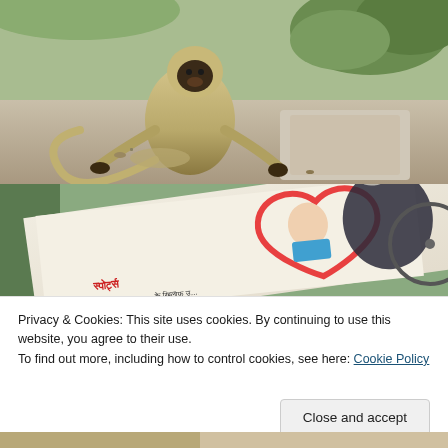[Figure (photo): A langur monkey sitting on a stone surface outdoors, with green shrubs and rocky terrain in the background. The monkey is light-colored with a dark face and is seated with legs stretched forward.]
[Figure (photo): A Hindi-language newspaper laid out, showing a photo of a young man in a blue shirt inside a heart-shaped graphic, with Hindi text visible including what appears to be a sports section header in red.]
Privacy & Cookies: This site uses cookies. By continuing to use this website, you agree to their use.
To find out more, including how to control cookies, see here: Cookie Policy
[Figure (photo): Partial view of another photograph at the bottom of the page, partially cut off.]